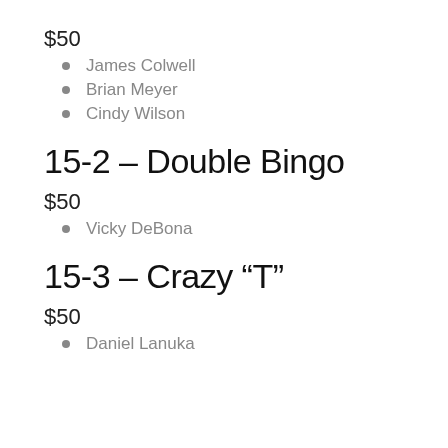$50
James Colwell
Brian Meyer
Cindy Wilson
15-2 – Double Bingo
$50
Vicky DeBona
15-3 – Crazy “T”
$50
Daniel Lanuka